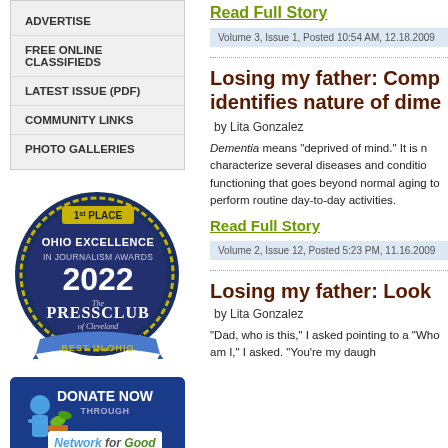ADVERTISE
FREE ONLINE CLASSIFIEDS
LATEST ISSUE (PDF)
COMMUNITY LINKS
PHOTO GALLERIES
[Figure (logo): 1st Place Ohio Excellence in Journalism Awards 2022, The Press Club of Cleveland, Best in Ohio badge]
[Figure (logo): Donate Now Through Network for Good button]
HEIGHTS OBSERVER
Read Full Story
Volume 3, Issue 1, Posted 10:54 AM, 12.18.2009
Losing my father: Comp identifies nature of dime
by Lita Gonzalez
Dementia means "deprived of mind." It is n characterize several diseases and conditio functioning that goes beyond normal aging to perform routine day-to-day activities.
Read Full Story
Volume 2, Issue 12, Posted 5:23 PM, 11.16.2009
Losing my father: Look
by Lita Gonzalez
"Dad, who is this," I asked pointing to a "Who am I," I asked. "You're my daugh